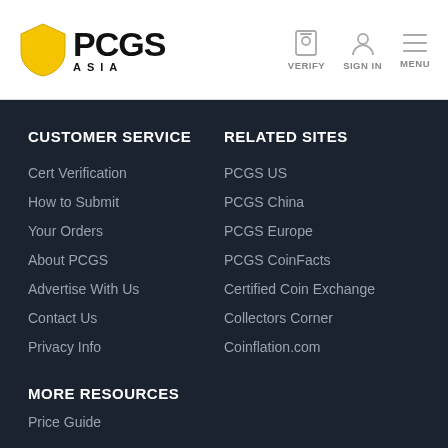PCGS ASIA — VERIFY | SIGN IN | MENU
CUSTOMER SERVICE
Cert Verification
How to Submit
Your Orders
About PCGS
Advertise With Us
Contact Us
Privacy Info
RELATED SITES
PCGS US
PCGS China
PCGS Europe
PCGS CoinFacts
Certified Coin Exchange
Collectors Corner
Coinflation.com
MORE RESOURCES
Price Guide